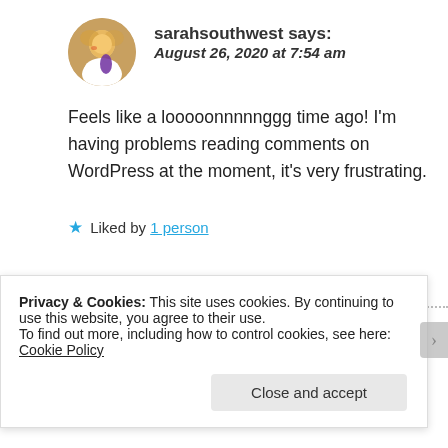sarahsouthwest says: August 26, 2020 at 7:54 am
Feels like a looooonnnggg time ago! I'm having problems reading comments on WordPress at the moment, it's very frustrating.
★ Liked by 1 person
Beverly Crawford says:
Privacy & Cookies: This site uses cookies. By continuing to use this website, you agree to their use.
To find out more, including how to control cookies, see here: Cookie Policy
Close and accept